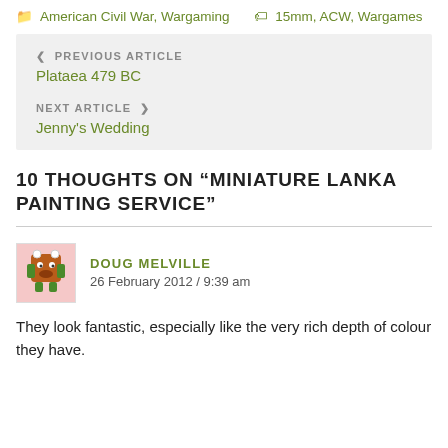American Civil War, Wargaming   15mm, ACW, Wargames
PREVIOUS ARTICLE
Plataea 479 BC
NEXT ARTICLE
Jenny's Wedding
10 THOUGHTS ON "MINIATURE LANKA PAINTING SERVICE"
DOUG MELVILLE
26 February 2012 / 9:39 am
They look fantastic, especially like the very rich depth of colour they have.